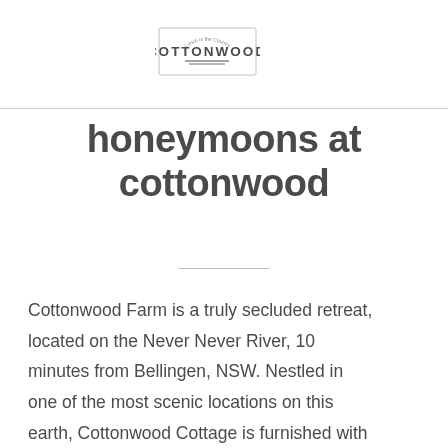COTTONWOOD
honeymoons at cottonwood
Cottonwood Farm is a truly secluded retreat, located on the Never Never River, 10 minutes from Bellingen, NSW. Nestled in one of the most scenic locations on this earth, Cottonwood Cottage is furnished with all of the seriously gorgeous things you may desire whilst enjoying your wedding preparations and honeymoon. The Cottage is fully self-contained, and stocked with